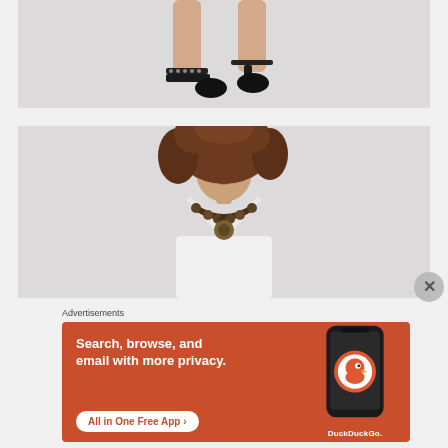[Figure (photo): Close-up photo of a model's lower legs wearing black high-heeled shoes with ankle straps, against a light grey background]
[Figure (photo): Fashion photo of a young woman with wild curly brown hair, wearing a white halter top and a large beaded/ornate necklace, against a light grey background]
Advertisements
[Figure (infographic): DuckDuckGo advertisement banner with orange background. Text reads: Search, browse, and email with more privacy. All in One Free App. Shows a smartphone with DuckDuckGo logo and branding.]